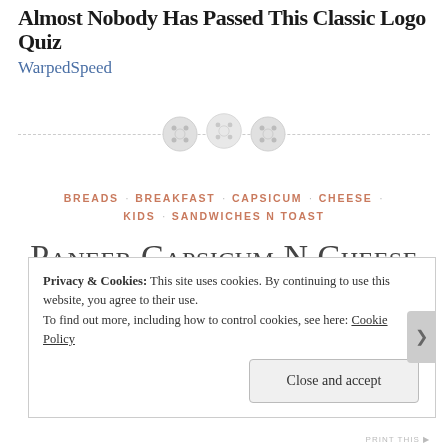Almost Nobody Has Passed This Classic Logo Quiz
WarpedSpeed
[Figure (illustration): Decorative divider with a dashed horizontal line and three overlapping grey button/circle icons in the center]
BREADS · BREAKFAST · CAPSICUM · CHEESE · KIDS · SANDWICHES N TOAST
Paneer Capsicum N Cheese Toast
Privacy & Cookies: This site uses cookies. By continuing to use this website, you agree to their use.
To find out more, including how to control cookies, see here: Cookie Policy
Close and accept